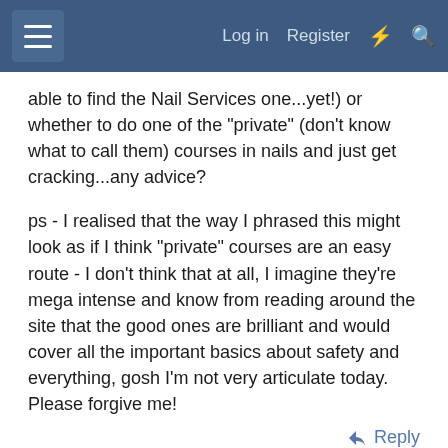Log in  Register
able to find the Nail Services one...yet!) or whether to do one of the "private" (don't know what to call them) courses in nails and just get cracking...any advice?
ps - I realised that the way I phrased this might look as if I think "private" courses are an easy route - I don't think that at all, I imagine they're mega intense and know from reading around the site that the good ones are brilliant and would cover all the important basics about safety and everything, gosh I'm not very articulate today. Please forgive me!
Reply
This site uses cookies to help personalise content, tailor your experience and to
Report Ad